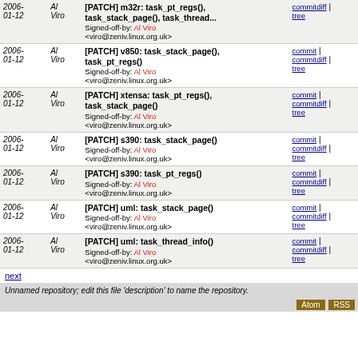| Date | Author | Description | Links |
| --- | --- | --- | --- |
| 2006-01-12 | Al Viro | [PATCH] m32r: task_pt_regs(), task_stack_page(), task_thread...
Signed-off-by: Al Viro <viro@zeniv.linux.org.uk> | commitdiff | tree |
| 2006-01-12 | Al Viro | [PATCH] v850: task_stack_page(), task_pt_regs()
Signed-off-by: Al Viro <viro@zeniv.linux.org.uk> | commit | commitdiff | tree |
| 2006-01-12 | Al Viro | [PATCH] xtensa: task_pt_regs(), task_stack_page()
Signed-off-by: Al Viro <viro@zeniv.linux.org.uk> | commit | commitdiff | tree |
| 2006-01-12 | Al Viro | [PATCH] s390: task_stack_page()
Signed-off-by: Al Viro <viro@zeniv.linux.org.uk> | commit | commitdiff | tree |
| 2006-01-12 | Al Viro | [PATCH] s390: task_pt_regs()
Signed-off-by: Al Viro <viro@zeniv.linux.org.uk> | commit | commitdiff | tree |
| 2006-01-12 | Al Viro | [PATCH] uml: task_stack_page()
Signed-off-by: Al Viro <viro@zeniv.linux.org.uk> | commit | commitdiff | tree |
| 2006-01-12 | Al Viro | [PATCH] uml: task_thread_info()
Signed-off-by: Al Viro <viro@zeniv.linux.org.uk> | commit | commitdiff | tree |
next
Unnamed repository; edit this file 'description' to name the repository.